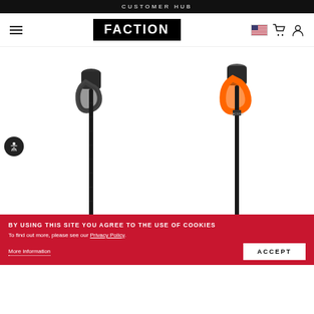CUSTOMER HUB
[Figure (screenshot): Faction brand logo (white text on black background) centered in nav bar, with hamburger menu on left and flag/cart/account icons on right]
[Figure (photo): Two ski poles side by side: left pole is black with black strap, right pole is black with bright orange strap. Product shots on white background.]
BY USING THIS SITE YOU AGREE TO THE USE OF COOKIES
To find out more, please see our Privacy Policy.
More information
ACCEPT
AGENT POLE BLACK
FACTION POLE ORANGE
$69.00
$69.00